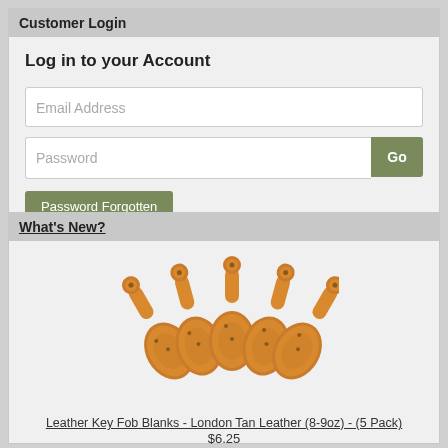Customer Login
Log in to your Account
Email Address
Password
Go
Password Forgotten
What's New?
[Figure (illustration): Five leather key fob blanks in London Tan color, shaped like bowling pins, arranged in a fan/spread pattern]
Leather Key Fob Blanks - London Tan Leather (8-9oz) - (5 Pack)
$6.25